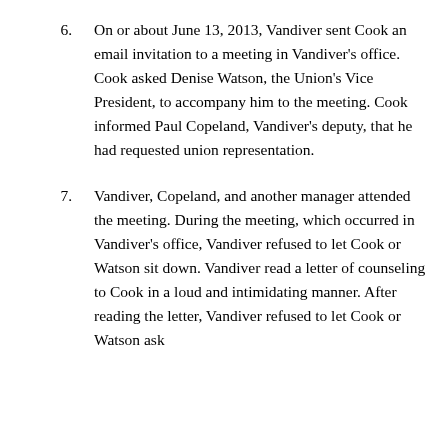6. On or about June 13, 2013, Vandiver sent Cook an email invitation to a meeting in Vandiver's office. Cook asked Denise Watson, the Union's Vice President, to accompany him to the meeting. Cook informed Paul Copeland, Vandiver's deputy, that he had requested union representation.
7. Vandiver, Copeland, and another manager attended the meeting. During the meeting, which occurred in Vandiver's office, Vandiver refused to let Cook or Watson sit down. Vandiver read a letter of counseling to Cook in a loud and intimidating manner. After reading the letter, Vandiver refused to let Cook or Watson ask